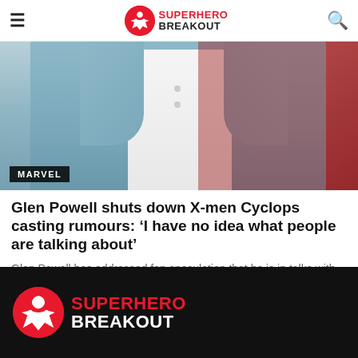Superhero Breakout
[Figure (photo): Man wearing a light blue jacket and white shirt, seated with red background visible behind him. MARVEL tag overlay in bottom-left.]
Glen Powell shuts down X-men Cyclops casting rumours: ‘I have no idea what people are talking about’
Glen Powell has addressed fan speculation that he is in talks with Marvel to play the role of...
BY © AUGUST 24, 2022
Superhero Breakout